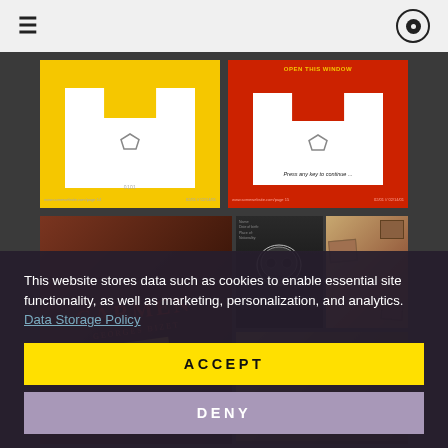[Figure (screenshot): Navigation bar with hamburger menu icon on left and record/target icon on right, light gray background]
[Figure (illustration): Yellow background design card showing white inset shape with pentagon/house icon, footer text below]
[Figure (illustration): Red background design card with white inset shape, pentagon icon, 'Press any key to continue...' text]
[Figure (photo): Photo of Carmen (Georges Bizet) opera book/program cover in dark red with gold lettering]
[Figure (photo): X-ray skull image on dark background alongside document pages]
[Figure (photo): Collage of photographs on warm brown background]
[Figure (photo): Dark yellowish-brown photographic image, partially obscured]
This website stores data such as cookies to enable essential site functionality, as well as marketing, personalization, and analytics. Data Storage Policy
ACCEPT
DENY